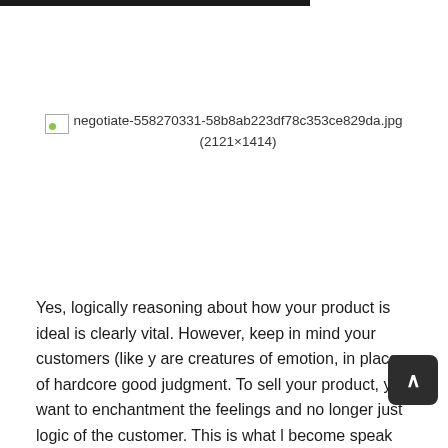[Figure (other): Broken image placeholder showing filename: negotiate-558270331-58b8ab223df78c353ce829da.jpg (2121×1414)]
Yes, logically reasoning about how your product is ideal is clearly vital. However, keep in mind your customers (like y are creatures of emotion, in place of hardcore good judgment. To sell your product, you want to enchantment the feelings and no longer just logic of the customer. This is what l become speak